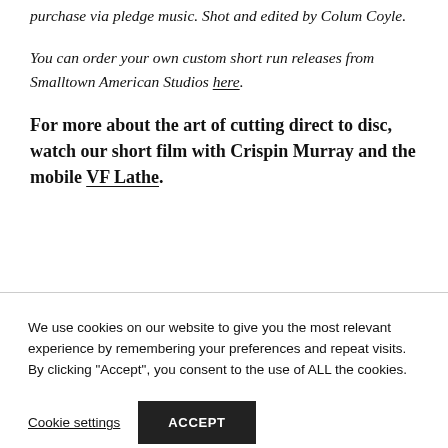purchase via pledge music. Shot and edited by Colum Coyle.
You can order your own custom short run releases from Smalltown American Studios here.
For more about the art of cutting direct to disc, watch our short film with Crispin Murray and the mobile VF Lathe.
We use cookies on our website to give you the most relevant experience by remembering your preferences and repeat visits. By clicking "Accept", you consent to the use of ALL the cookies.
Cookie settings
ACCEPT